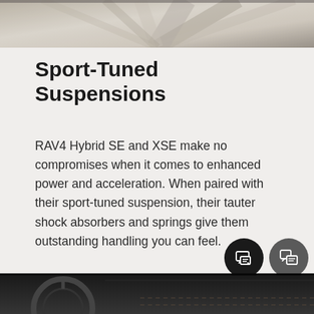[Figure (photo): Top photo showing road surface stripes from a driving perspective, in grayscale/sepia tones]
Sport-Tuned Suspensions
RAV4 Hybrid SE and XSE make no compromises when it comes to enhanced power and acceleration. When paired with their sport-tuned suspension, their tauter shock absorbers and springs give them outstanding handling you can feel.
[Figure (photo): Bottom photo showing car interior dashboard and steering wheel detail in black and white]